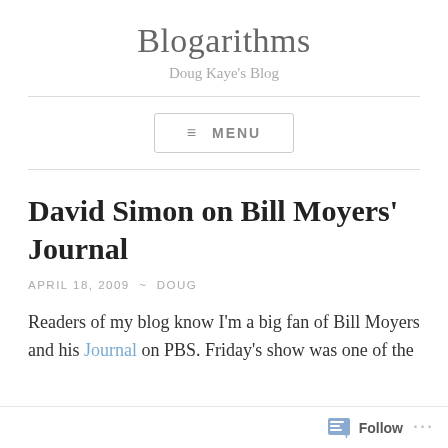Blogarithms
Doug Kaye's Blog
☰ MENU
David Simon on Bill Moyers' Journal
APRIL 18, 2009 ~ DOUG
Readers of my blog know I'm a big fan of Bill Moyers and his Journal on PBS. Friday's show was one of the